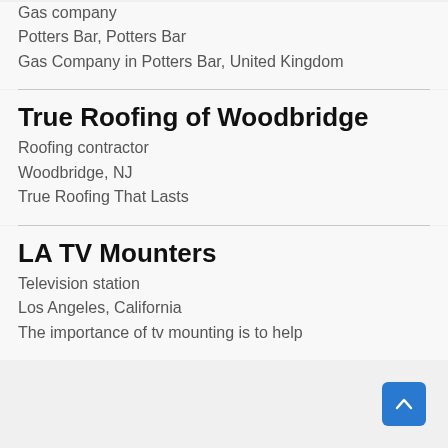Gas company
Potters Bar, Potters Bar
Gas Company in Potters Bar, United Kingdom
True Roofing of Woodbridge
Roofing contractor
Woodbridge, NJ
True Roofing That Lasts
LA TV Mounters
Television station
Los Angeles, California
The importance of tv mounting is to help